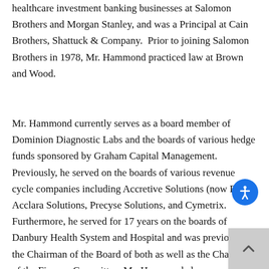healthcare investment banking businesses at Salomon Brothers and Morgan Stanley, and was a Principal at Cain Brothers, Shattuck & Company.  Prior to joining Salomon Brothers in 1978, Mr. Hammond practiced law at Brown and Wood.
Mr. Hammond currently serves as a board member of Dominion Diagnostic Labs and the boards of various hedge funds sponsored by Graham Capital Management. Previously, he served on the boards of various revenue cycle companies including Accretive Solutions (now R1), Acclara Solutions, Precyse Solutions, and Cymetrix. Furthermore, he served for 17 years on the boards of Danbury Health System and Hospital and was previously the Chairman of the Board of both as well as the Chairman of the Finance Committee. Mr. Hammond also served as a member of the board of the Connecticut Hospital